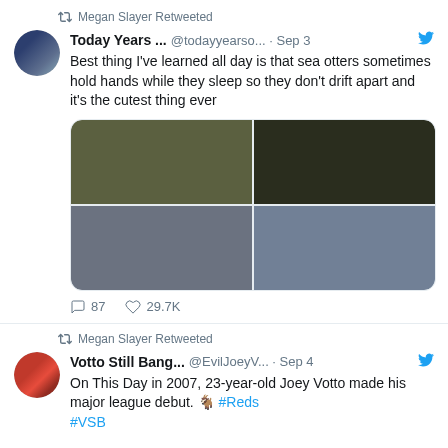Megan Slayer Retweeted
Today Years ... @todayyearso... · Sep 3
Best thing I've learned all day is that sea otters sometimes hold hands while they sleep so they don't drift apart and it's the cutest thing ever
[Figure (photo): Four-panel grid of images showing sea otters, displayed in 2x2 grid layout with dark and blue-grey panels]
87  29.7K
Megan Slayer Retweeted
Votto Still Bang... @EvilJoeyV... · Sep 4
On This Day in 2007, 23-year-old Joey Votto made his major league debut. 🐐 #Reds #VSB